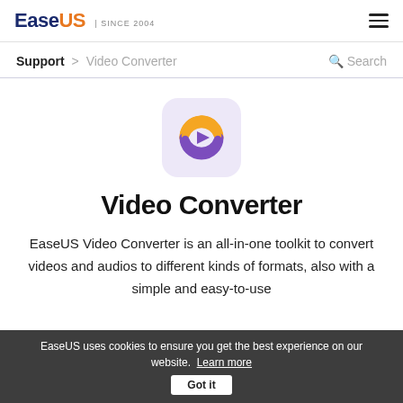EaseUS | SINCE 2004
Support > Video Converter   Search
[Figure (logo): EaseUS Video Converter app icon: orange and purple circular arrow with play button triangle in center, on a light purple rounded rectangle background]
Video Converter
EaseUS Video Converter is an all-in-one toolkit to convert videos and audios to different kinds of formats, also with a simple and easy-to-use
EaseUS uses cookies to ensure you get the best experience on our website.  Learn more   Got it